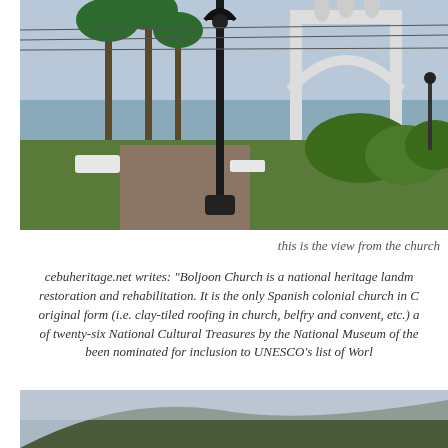[Figure (photo): Outdoor park scene with a black lamp post in the foreground, palm trees, a white arch gate with statues on top, green shrubs, and a view of the sea in the background under a hazy sky.]
this is the view from the church
cebuheritage.net writes: "Boljoon Church is a national heritage landmark currently undergoing restoration and rehabilitation. It is the only Spanish colonial church in Cebu that retains its original form (i.e. clay-tiled roofing in church, belfry and convent, etc.) and is one of the list of twenty-six National Cultural Treasures by the National Museum of the Philippines. It has been nominated for inclusion to UNESCO's list of World Heritage Sites.
[Figure (photo): Partial view of a foggy or hazy landscape, possibly a mountain or hill covered with trees, shown at the bottom of the page.]